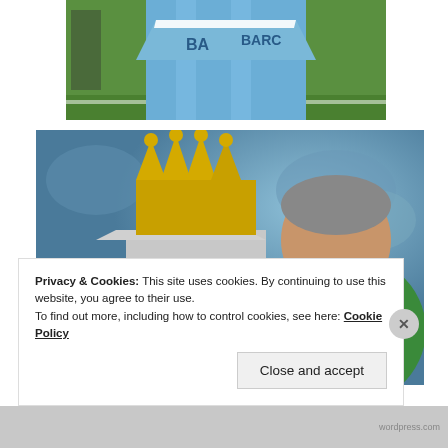[Figure (photo): Photo of a person in a light blue Manchester City jersey holding a blue and white scarf with 'BARCLAYS' text visible, on a football pitch. Only the torso and lower body visible.]
[Figure (photo): Photo of Roberto Mancini (Manchester City manager) holding the Premier League trophy, which features a gold crown on top. Blue ribbons visible on the trophy. He is wearing a green jacket. Background shows a blurred crowd.]
Privacy & Cookies: This site uses cookies. By continuing to use this website, you agree to their use.
To find out more, including how to control cookies, see here: Cookie Policy
Close and accept